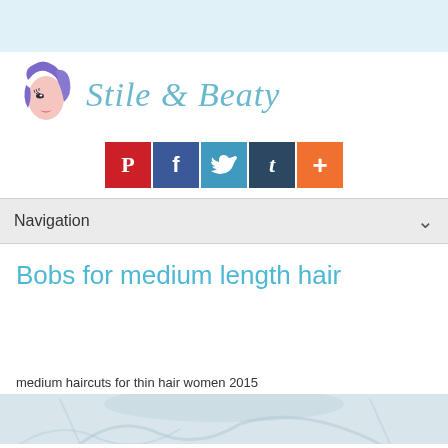[Figure (logo): Stile & Beaty beauty blog logo with stylized face illustration and italic teal script text]
[Figure (infographic): Social media share buttons: Pinterest (red), Facebook (dark blue), Twitter (light blue), Tumblr (dark slate), Google+ (orange)]
Navigation
Bobs for medium length hair
medium haircuts for thin hair women 2015
[Figure (photo): Partial photo of a woman's hair/accessories, light background, partially visible at bottom of page]